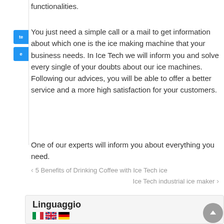functionalities.
You just need a simple call or a mail to get information about which one is the ice making machine that your business needs. In Ice Tech we will inform you and solve every single of your doubts about our ice machines.  Following our advices, you will be able to offer a better service and a more high satisfaction for your customers.
One of our experts will inform you about everything you need.
‹ 5 Benefits of Drinking Coffee with Ice Tech ice
Ice Tech industrial ice maker ›
Linguaggio